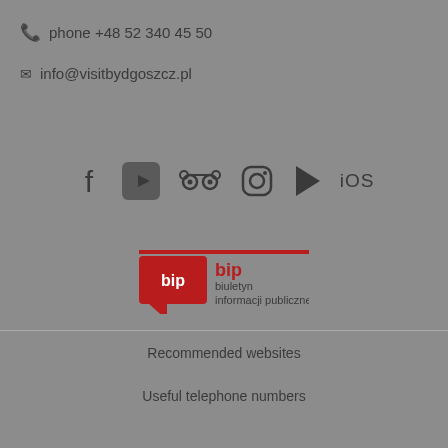phone +48 52 340 45 50
info@visitbydgoszcz.pl
[Figure (infographic): Social media icons row: Facebook, YouTube, TripAdvisor, Instagram, Google Play, iOS]
[Figure (logo): BIP - Biuletyn Informacji Publicznej logo with red chat bubble icon]
Recommended websites
Useful telephone numbers